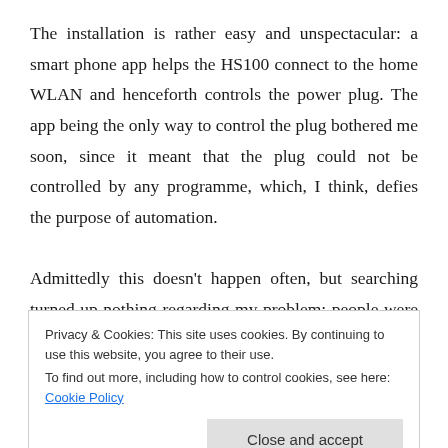The installation is rather easy and unspectacular: a smart phone app helps the HS100 connect to the home WLAN and henceforth controls the power plug. The app being the only way to control the plug bothered me soon, since it meant that the plug could not be controlled by any programme, which, I think, defies the purpose of automation. Admittedly this doesn't happen often, but searching turned up nothing regarding my problem; people were happily controlling the HS100 through the app or
Privacy & Cookies: This site uses cookies. By continuing to use this website, you agree to their use.
To find out more, including how to control cookies, see here: Cookie Policy
grudges.